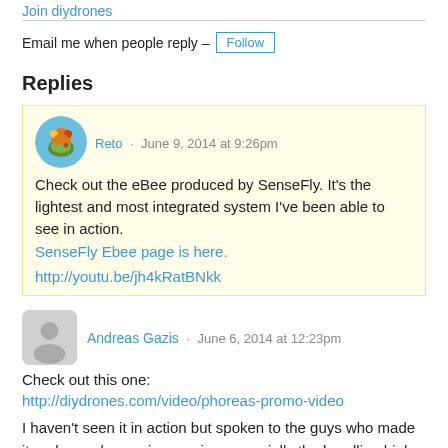Join diydrones
Email me when people reply – Follow
Replies
Reto · June 9, 2014 at 9:26pm
Check out the eBee produced by SenseFly. It's the lightest and most integrated system I've been able to see in action.
SenseFly Ebee page is here.
http://youtu.be/jh4kRatBNkk
Andreas Gazis · June 6, 2014 at 12:23pm
Check out this one:
http://diydrones.com/video/phoreas-promo-video
I haven't seen it in action but spoken to the guys who made it and sounds very impressive, especially the handling high winds and landing in harsh terrain bit (it's designed and built in Greece, which has both in abundance). A lot more R&D has happened since this video was posted as well.